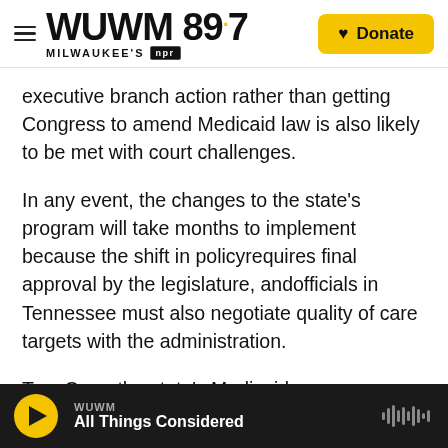WUWM 89.7 Milwaukee's NPR — Donate
executive branch action rather than getting Congress to amend Medicaid law is also likely to be met with court challenges.
In any event, the changes to the state's program will take months to implement because the shift in policyrequires final approval by the legislature, andofficials in Tennessee must also negotiate quality of care targets with the administration.
TennCare, the state's Medicaid program, says the new system would give it unprecedented flexibility to decide who is covered and what services it will
WUWM — All Things Considered